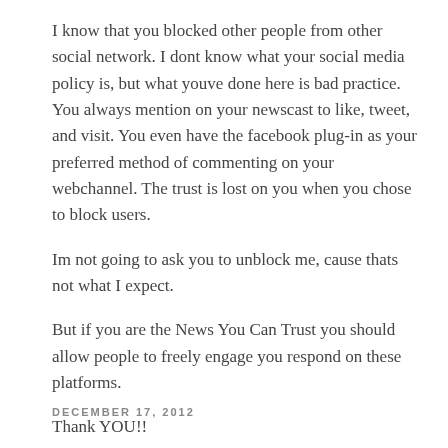I know that you blocked other people from other social network. I dont know what your social media policy is, but what youve done here is bad practice. You always mention on your newscast to like, tweet, and visit. You even have the facebook plug-in as your preferred method of commenting on your webchannel. The trust is lost on you when you chose to block users.
Im not going to ask you to unblock me, cause thats not what I expect.
But if you are the News You Can Trust you should allow people to freely engage you respond on these platforms.
Thank YOU!!
DECEMBER 17, 2012